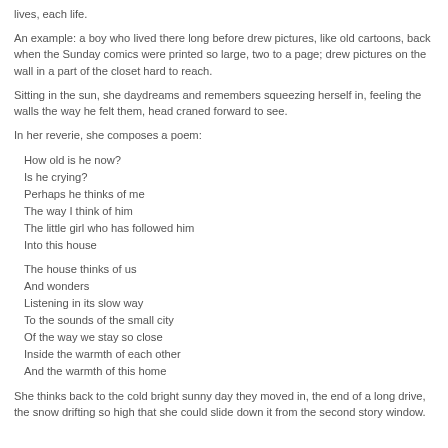lives, each life.
An example: a boy who lived there long before drew pictures, like old cartoons, back when the Sunday comics were printed so large, two to a page; drew pictures on the wall in a part of the closet hard to reach.
Sitting in the sun, she daydreams and remembers squeezing herself in, feeling the walls the way he felt them, head craned forward to see.
In her reverie, she composes a poem:
How old is he now?
Is he crying?
Perhaps he thinks of me
The way I think of him
The little girl who has followed him
Into this house
The house thinks of us
And wonders
Listening in its slow way
To the sounds of the small city
Of the way we stay so close
Inside the warmth of each other
And the warmth of this home
She thinks back to the cold bright sunny day they moved in, the end of a long drive, the snow drifting so high that she could slide down it from the second story window.